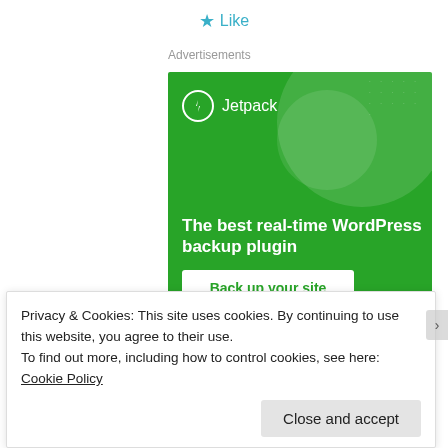★ Like
Advertisements
[Figure (illustration): Jetpack WordPress plugin advertisement banner. Green background with circular decorative shapes and dot pattern. Shows Jetpack logo (lightning bolt in circle) and name at top left. Large white bold text reads 'The best real-time WordPress backup plugin'. White button at bottom reads 'Back up your site'.]
Privacy & Cookies: This site uses cookies. By continuing to use this website, you agree to their use.
To find out more, including how to control cookies, see here: Cookie Policy
Close and accept